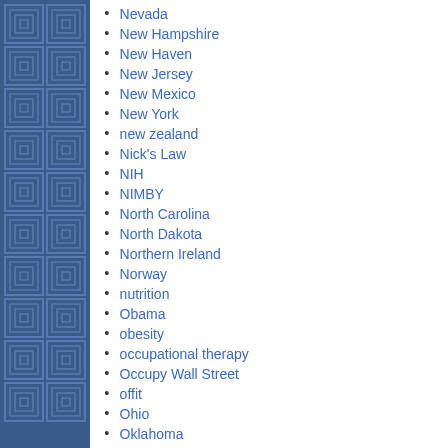Nevada
New Hampshire
New Haven
New Jersey
New Mexico
New York
new zealand
Nick's Law
NIH
NIMBY
North Carolina
North Dakota
Northern Ireland
Norway
nutrition
Obama
obesity
occupational therapy
Occupy Wall Street
offit
Ohio
Oklahoma